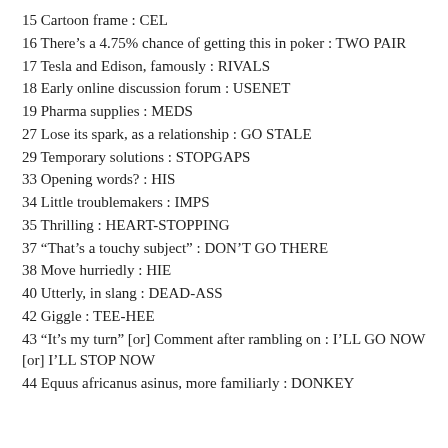15 Cartoon frame : CEL
16 There's a 4.75% chance of getting this in poker : TWO PAIR
17 Tesla and Edison, famously : RIVALS
18 Early online discussion forum : USENET
19 Pharma supplies : MEDS
27 Lose its spark, as a relationship : GO STALE
29 Temporary solutions : STOPGAPS
33 Opening words? : HIS
34 Little troublemakers : IMPS
35 Thrilling : HEART-STOPPING
37 “That’s a touchy subject” : DON’T GO THERE
38 Move hurriedly : HIE
40 Utterly, in slang : DEAD-ASS
42 Giggle : TEE-HEE
43 “It’s my turn” [or] Comment after rambling on : I’LL GO NOW [or] I’LL STOP NOW
44 Equus africanus asinus, more familiarly : DONKEY